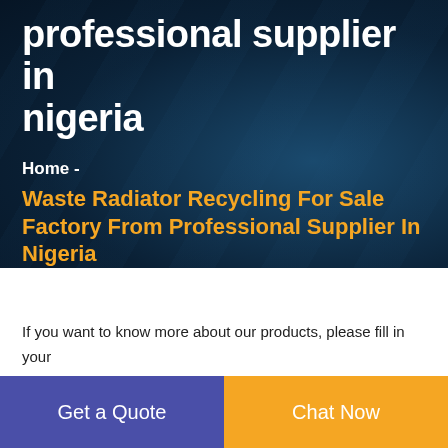professional supplier in nigeria
Home -
Waste Radiator Recycling For Sale Factory From Professional Supplier In Nigeria
If you want to know more about our products, please fill in your information in the form and submit. Our sales staff will contact you in
Get a Quote
Chat Now